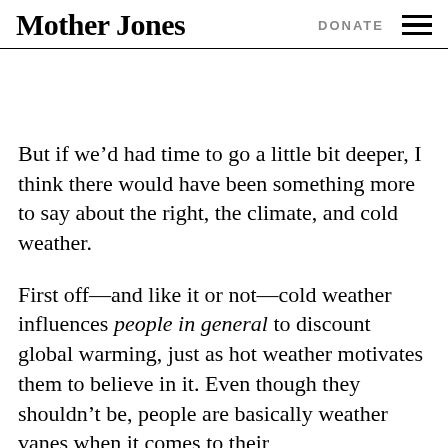Mother Jones | DONATE
But if we’d had time to go a little bit deeper, I think there would have been something more to say about the right, the climate, and cold weather.
First off—and like it or not—cold weather influences people in general to discount global warming, just as hot weather motivates them to believe in it. Even though they shouldn’t be, people are basically weather vanes when it comes to their